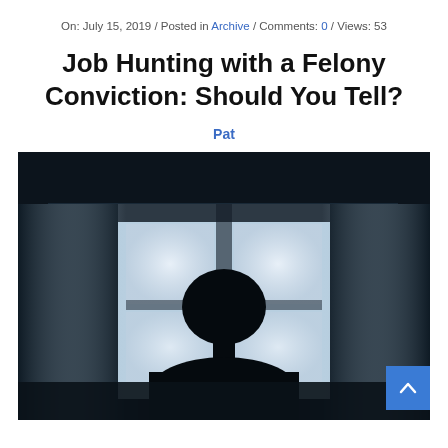On: July 15, 2019 / Posted in Archive / Comments: 0 / Views: 53
Job Hunting with a Felony Conviction: Should You Tell?
Pat
[Figure (photo): Silhouette of a person standing in front of bright barred/gridded windows in a dark corridor, suggesting a prison or institutional setting. The figure is backlit, creating a stark dark silhouette against the bright white light from the windows.]